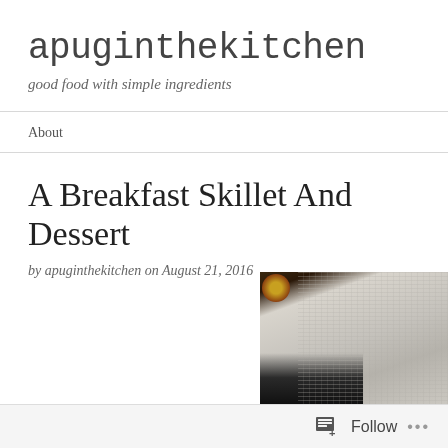apuginthekitchen
good food with simple ingredients
About
A Breakfast Skillet And Dessert
by apuginthekitchen on August 21, 2016
[Figure (photo): Close-up photo of a breakfast skillet dish on a knitted or textured white cloth background, with a dark cast-iron skillet visible at lower left]
Follow ...